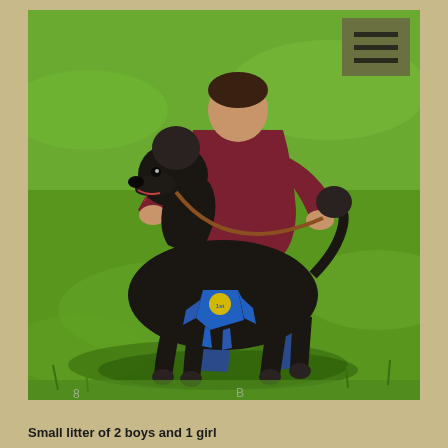[Figure (photo): A black standard poodle standing in show stance on green grass, wearing a blue ribbon/rosette. A person in a maroon shirt and blue jeans is kneeling behind the dog, holding it in show position. The dog is groomed in a show clip with a pom-pom tail.]
Small litter of 2 boys and 1 girl